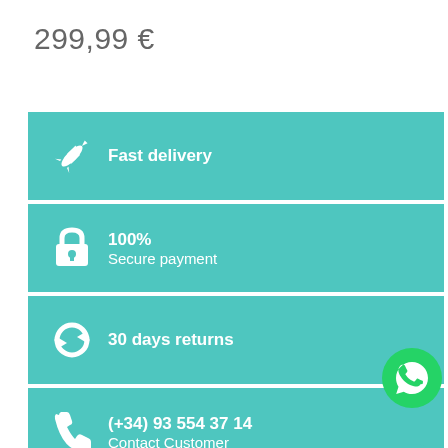299,99 €
Fast delivery
100% Secure payment
30 days returns
(+34) 93 554 37 14 Contact Customer